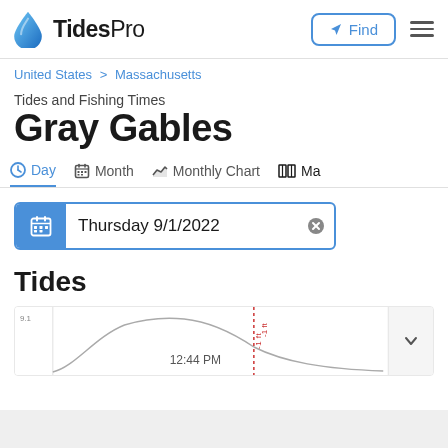TidesPro — Find | Menu
United States > Massachusetts
Tides and Fishing Times
Gray Gables
Day  Month  Monthly Chart  Ma…
Thursday 9/1/2022
Tides
[Figure (continuous-plot): Partial tide chart showing 12:44 PM marker with dashed red vertical line, labeled '-1 ft', with a chevron expand button on the right.]